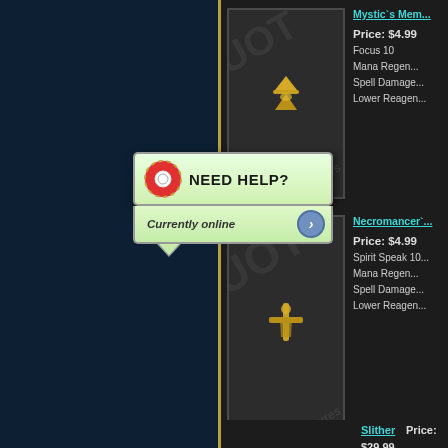[Figure (screenshot): Left dark navy blue panel of a game store website]
Mystic`s Mem...
Price: $4.99
Focus 10
Mana Regen...
Spell Damage...
Lower Reagen...
[Figure (infographic): Need Help? Currently online popup widget with lifebuoy icon]
Necromancer`...
Price: $4.99
Spirit Speak 10...
Mana Regen...
Spell Damage...
Lower Reagen...
Slither
Price: $29.99
Hit Point Increa...
2 Hit Point Re...